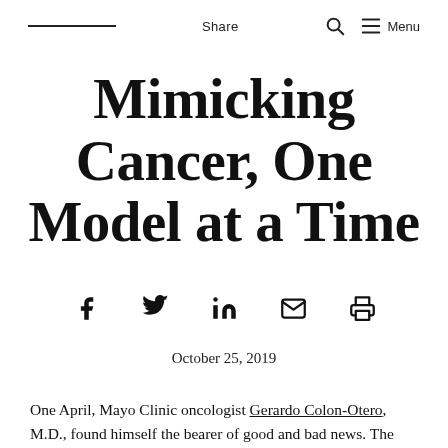Share  Menu
Mimicking Cancer, One Model at a Time
October 25, 2019
One April, Mayo Clinic oncologist Gerardo Colon-Otero, M.D., found himself the bearer of good and bad news. The